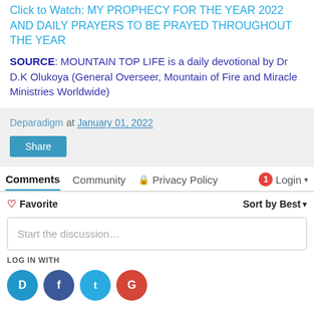Click to Watch: MY PROPHECY FOR THE YEAR 2022 AND DAILY PRAYERS TO BE PRAYED THROUGHOUT THE YEAR
SOURCE: MOUNTAIN TOP LIFE is a daily devotional by Dr D.K Olukoya (General Overseer, Mountain of Fire and Miracle Ministries Worldwide)
Deparadigm at January 01, 2022
Share
Comments   Community   Privacy Policy   1   Login
Favorite   Sort by Best
Start the discussion…
LOG IN WITH